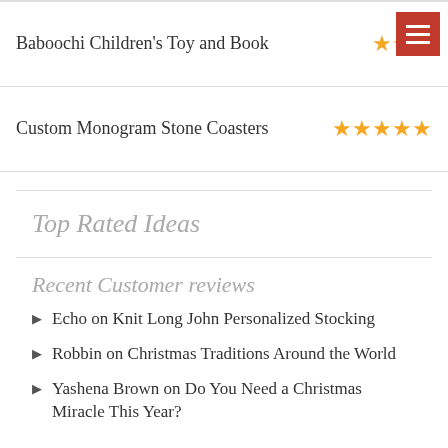Baboochi Children's Toy and Book — 3 stars
Custom Monogram Stone Coasters — 4.5 stars
Top Rated Ideas
Recent Customer reviews
Echo on Knit Long John Personalized Stocking
Robbin on Christmas Traditions Around the World
Yashena Brown on Do You Need a Christmas Miracle This Year?